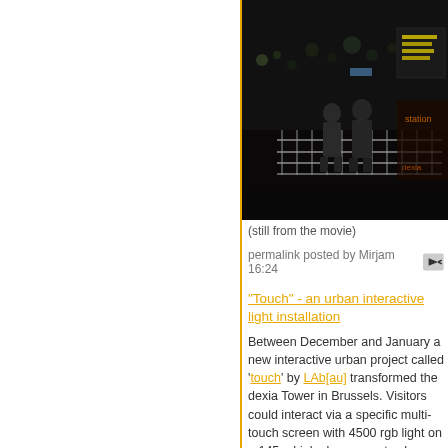[Figure (photo): Night-time photograph showing people standing near metal barriers in front of an illuminated building/tower with a lit sign reading 'THE AFFITI STEM'. City lights visible in background.]
(still from the movie)
permalink posted by Mirjam 16:24
"Touch" - an urban interactive light installation
Between December and January a new interactive urban project called 'touch' by LAb[au] transformed the dexia Tower in Brussels. Visitors could interact via a specific multi-touch screen with 4500 rgb light on a 145m high skyscraper to choose their color and to generate graphics which are displayed in real-time on the tower. Visitors also could request to snap a picture which they can sent as an electronic greeting card